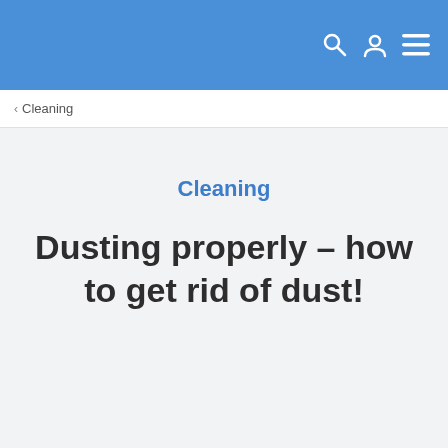Cleaning
Cleaning
Dusting properly – how to get rid of dust!